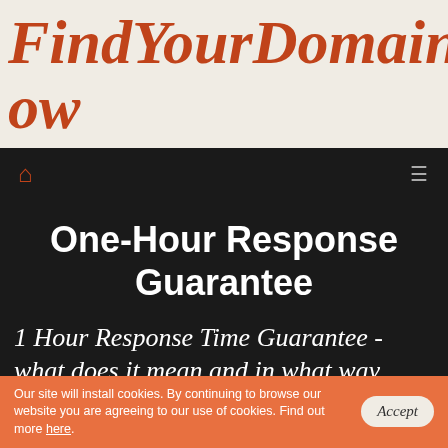FindYourDomainNow
nav bar with home and menu icons
One-Hour Response Guarantee
1 Hour Response Time Guarantee - what does it mean and in what way does it boost user experience?
Our site will install cookies. By continuing to browse our website you are agreeing to our use of cookies. Find out more here.